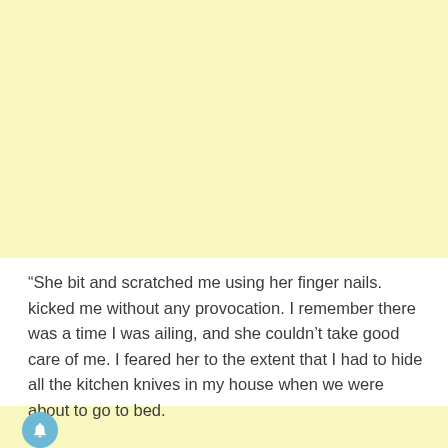“She bit and scratched me using her finger nails. kicked me without any provocation. I remember there was a time I was ailing, and she couldn’t take good care of me. I feared her to the extent that I had to hide all the kitchen knives in my house when we were about to go to bed.